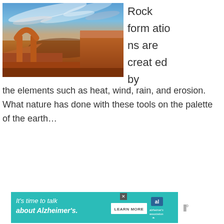[Figure (photo): Photograph of Delicate Arch rock formation in a desert canyon landscape with dramatic blue sky and wispy clouds. The natural sandstone arch stands on the left with red rock mesas and canyon stretching into the distance.]
Rock formations are created by the elements such as heat, wind, rain, and erosion. What nature has done with these tools on the palette of the earth…
[Figure (other): Advertisement banner: 'It's time to talk about Alzheimer's.' with a LEARN MORE button and Alzheimer's Association logo on a teal/turquoise background.]